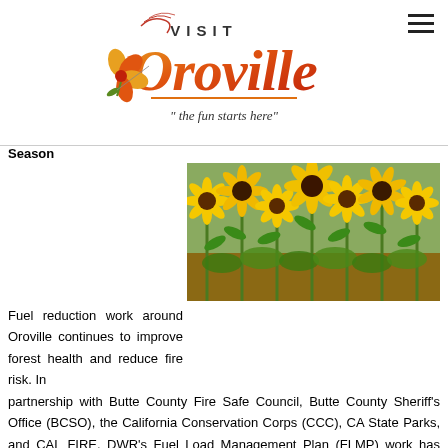[Figure (logo): Visit Oroville logo with script lettering in orange/red gradient, poppy flower, and tagline 'the fun starts here']
Season
[Figure (photo): A field of sunflowers with yellow blooms and green foliage under a clear sky]
Fuel reduction work around Oroville continues to improve forest health and reduce fire risk. In partnership with Butte County Fire Safe Council, Butte County Sheriff's Office (BCSO), the California Conservation Corps (CCC), CA State Parks, and CAL FIRE, DWR's Fuel Load Management Plan (FLMP) work has thinned approximately 25 acres of overgrown vegetation and trees, as well as cut, piled, and chipped